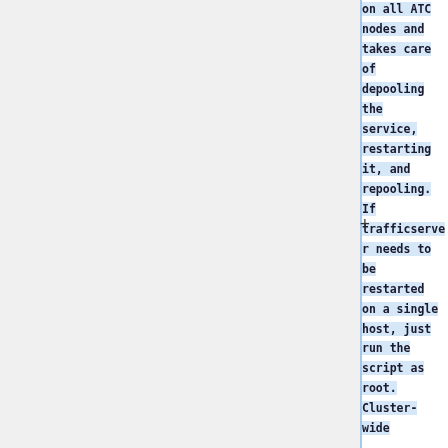on all ATC nodes and takes care of depooling the service, restarting it, and repooling. If trafficserver needs to be restarted on a single host, just run the script as root. Cluster-wide